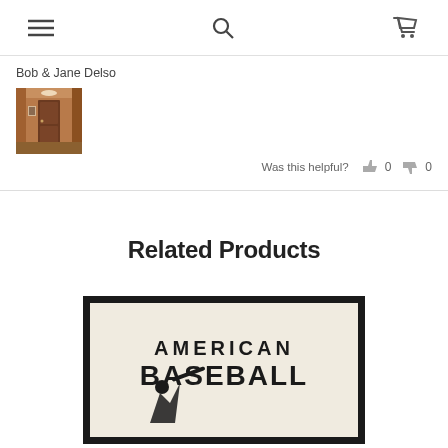Navigation bar with menu, search, and cart icons
Bob & Jane Delso
[Figure (photo): Photo of a hallway interior with wooden doors and wall art]
Was this helpful? 0 0
Related Products
[Figure (photo): Framed American Baseball wall art print with text 'AMERICAN BASEBALL']